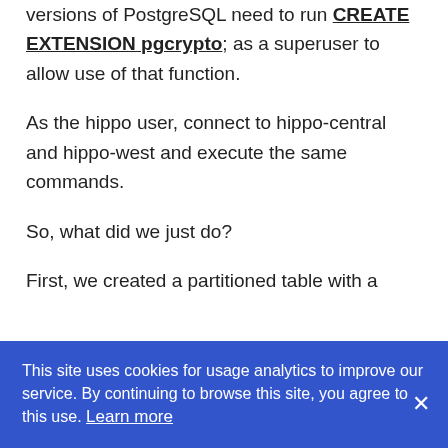available in PostgreSQL 10 — older versions of PostgreSQL need to run CREATE EXTENSION pgcrypto; as a superuser to allow use of that function.
As the hippo user, connect to hippo-central and hippo-west and execute the same commands.
So, what did we just do?
First, we created a partitioned table with a
This site uses cookies for usage analytics to improve our service. By continuing to browse this site, you agree to this use. Learn more